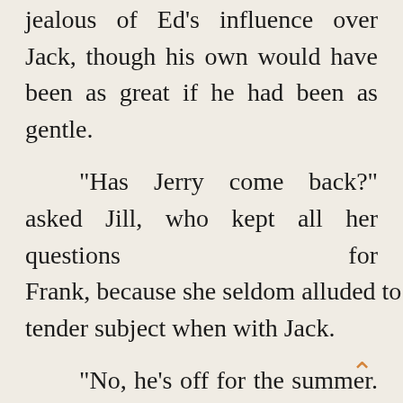Frank, feeling a little jealous of Ed's influence over Jack, though his own would have been as great if he had been as gentle.

"Has Jerry come back?" asked Jill, who kept all her questions for Frank, because she seldom alluded to the tender subject when with Jack.

"No, he's off for the summer. Got a place somewhere. Hope he'll stay there and let Bob alone."